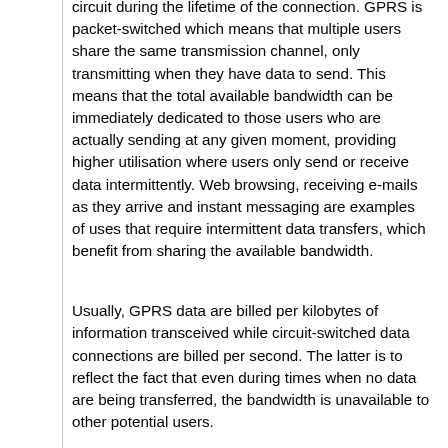circuit during the lifetime of the connection. GPRS is packet-switched which means that multiple users share the same transmission channel, only transmitting when they have data to send. This means that the total available bandwidth can be immediately dedicated to those users who are actually sending at any given moment, providing higher utilisation where users only send or receive data intermittently. Web browsing, receiving e-mails as they arrive and instant messaging are examples of uses that require intermittent data transfers, which benefit from sharing the available bandwidth.
Usually, GPRS data are billed per kilobytes of information transceived while circuit-switched data connections are billed per second. The latter is to reflect the fact that even during times when no data are being transferred, the bandwidth is unavailable to other potential users.